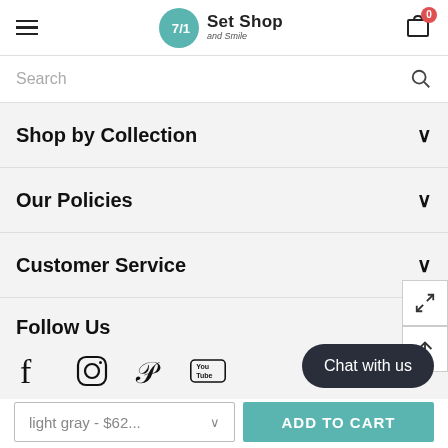Set Shop and Smile — navigation header with hamburger menu, logo, and cart (0 items)
Search
Shop by Collection
Our Policies
Customer Service
Follow Us
[Figure (infographic): Social media icons: Facebook, Instagram, Pinterest, YouTube]
Chat with us
light gray - $62...
ADD TO CART